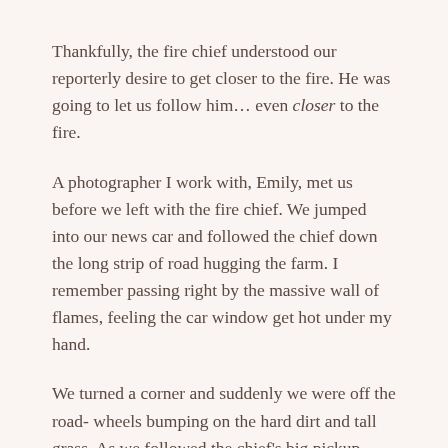Thankfully, the fire chief understood our reporterly desire to get closer to the fire. He was going to let us follow him… even closer to the fire.
A photographer I work with, Emily, met us before we left with the fire chief. We jumped into our news car and followed the chief down the long strip of road hugging the farm. I remember passing right by the massive wall of flames, feeling the car window get hot under my hand.
We turned a corner and suddenly we were off the road- wheels bumping on the hard dirt and tall grass. As we followed the chief's big pickup truck, my eyes were wide.
We followed him into a field bordering the fire, jerking the wheel to avoid divots in the dirt that could mean bad news for our news car. The fire reared up on the horizon like a sunset, and the chief pulled his car to a stop about 200 feet